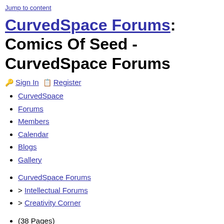Jump to content
CurvedSpace Forums: Comics Of Seed - CurvedSpace Forums
🔑 Sign In 📋 Register
CurvedSpace
Forums
Members
Calendar
Blogs
Gallery
CurvedSpace Forums
> Intellectual Forums
> Creativity Corner
(38 Pages)
▼
« First
←